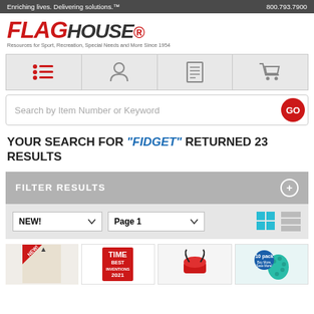Enriching lives. Delivering solutions.™  |  800.793.7900
[Figure (logo): FlagHouse logo with red FLAG and dark HOUSE text, italic bold, with registered trademark symbol]
Resources for Sport, Recreation, Special Needs and More Since 1954
[Figure (infographic): Navigation icon bar with four cells: list/menu icon (red), account/person icon, catalog/document icon, shopping cart icon]
Search by Item Number or Keyword
YOUR SEARCH FOR "FIDGET" RETURNED 23 RESULTS
FILTER RESULTS
NEW!  Page 1
[Figure (photo): Four product thumbnail images at the bottom of the page showing fidget-related products]